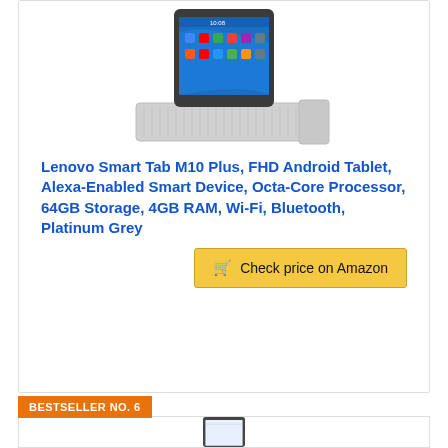[Figure (photo): Lenovo Smart Tab M10 Plus tablet in a speaker dock, showing home screen with app icons, platinum grey color]
Lenovo Smart Tab M10 Plus, FHD Android Tablet, Alexa-Enabled Smart Device, Octa-Core Processor, 64GB Storage, 4GB RAM, Wi-Fi, Bluetooth, Platinum Grey
Check price on Amazon
BESTSELLER NO. 6
[Figure (photo): Lenovo tablet (partially visible) showing screen with home interface, dark grey color]